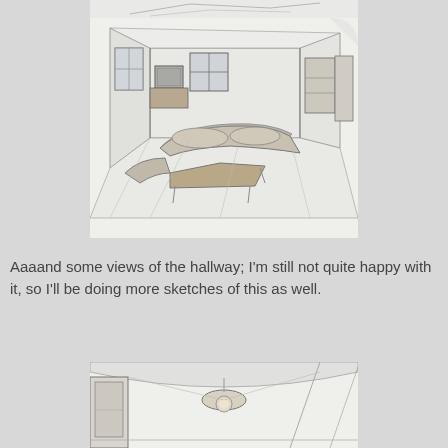[Figure (illustration): Partial view of a pencil sketch at top of page — cropped architectural/room sketch, top portion only visible]
[Figure (illustration): Pencil sketch of a living room interior in perspective view, showing a sofa, coffee table, TV on a cabinet, windows on the left and back walls, a doorway on the right, shelving unit, and floor perspective lines. The sketch is on white paper with slight curl.]
Aaaand some views of the hallway; I'm still not quite happy with it, so I'll be doing more sketches of this as well.
[Figure (illustration): Partial pencil sketch of a hallway interior — bottom portion of page, showing a ceiling light fixture, curved ceiling, and doorway/wall elements in perspective.]